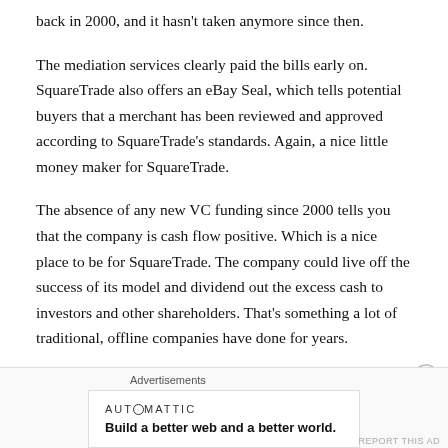back in 2000, and it hasn't taken anymore since then.
The mediation services clearly paid the bills early on. SquareTrade also offers an eBay Seal, which tells potential buyers that a merchant has been reviewed and approved according to SquareTrade's standards. Again, a nice little money maker for SquareTrade.
The absence of any new VC funding since 2000 tells you that the company is cash flow positive. Which is a nice place to be for SquareTrade. The company could live off the success of its model and dividend out the excess cash to investors and other shareholders. That's something a lot of traditional, offline companies have done for years.
[Figure (other): Advertisement banner from Automattic with tagline 'Build a better web and a better world.' with a close button and report link.]